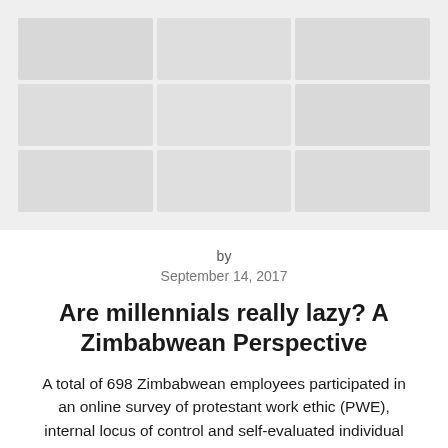[Figure (photo): Faded/watermarked grid of thumbnail images arranged in a 3x3 pattern, appearing as placeholder or blurred article images in light gray tones]
by
September 14, 2017
Are millennials really lazy? A Zimbabwean Perspective
A total of 698 Zimbabwean employees participated in an online survey of protestant work ethic (PWE), internal locus of control and self-evaluated individual